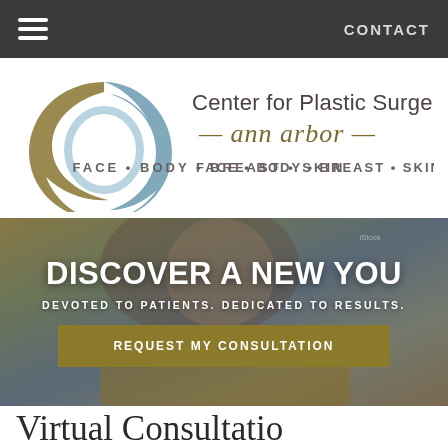CONTACT
[Figure (logo): Center for Plastic Surgery Ann Arbor logo with circular swoosh design in blue and gold, text reads: Center for Plastic Surgery ann arbor, FACE • BODY • BREAST • SKIN]
[Figure (photo): Smiling woman with long brown hair wearing a yellow sweater, hero banner image with text overlay]
DISCOVER A NEW YOU
DEVOTED TO PATIENTS. DEDICATED TO RESULTS.
REQUEST MY CONSULTATION
Virtual Consultatio